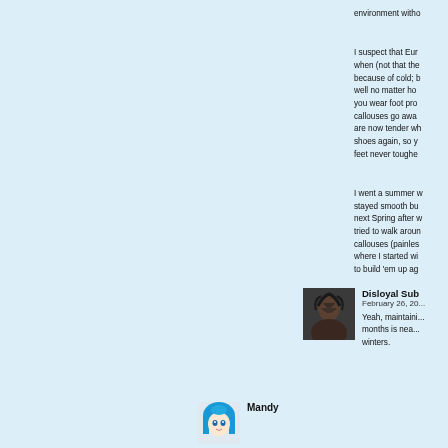environment witho...
I suspect that Eur... when (not that the... because of cold; b... well no matter ho... you wear foot pro... callouses go awa... are now tender wh... shoes again, so y... feet never toughe...
I went a summer w... stayed smooth bu... next Spring after w... tried to walk aroun... callouses (painles... where I started wi... to build 'em up ag...
[Figure (photo): Avatar photo of user Disloyal Sub, showing a dark-haired person]
Disloyal Sub
February 26, 20...
Yeah, maintaini... months is nea... winters.
[Figure (illustration): Anime-style avatar of user Mandy with blue hair]
Mandy